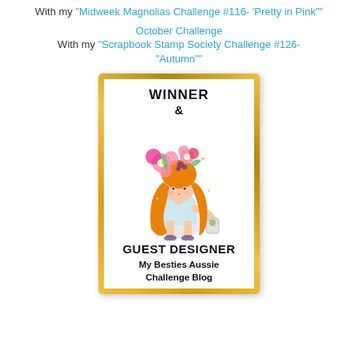With my "Midweek Magnolias Challenge #116- 'Pretty in Pink""
October Challenge
With my "Scrapbook Stamp Society Challenge #126-"Autumn""
[Figure (illustration): Winner and Guest Designer badge for My Besties Aussie Challenge Blog. Features a cartoon girl with long orange hair and pink flowers on her head, holding a coffee cup. The badge has a gold decorative border on white background with text: WINNER & GUEST DESIGNER My Besties Aussie Challenge Blog]